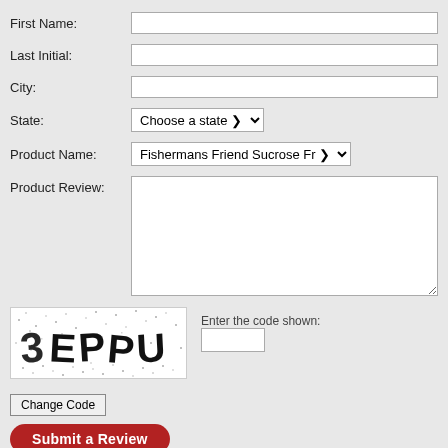First Name:
Last Initial:
City:
State:
Product Name:
Product Review:
[Figure (other): CAPTCHA image showing the text '3EPPU' in distorted, speckled letters on a white background with noise dots]
Enter the code shown:
Change Code
Submit a Review